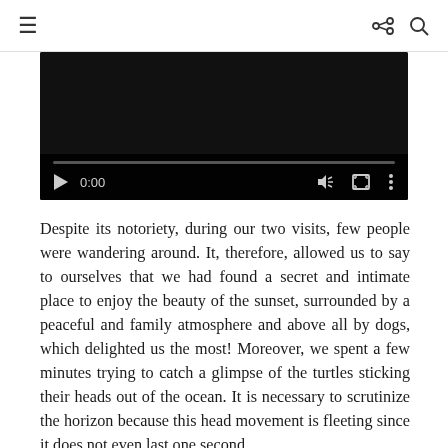≡  ⋮ 🔍
[Figure (screenshot): Video player with black background showing playback controls: play button, timestamp 0:00, progress bar, volume icon, fullscreen icon, and options menu.]
Despite its notoriety, during our two visits, few people were wandering around. It, therefore, allowed us to say to ourselves that we had found a secret and intimate place to enjoy the beauty of the sunset, surrounded by a peaceful and family atmosphere and above all by dogs, which delighted us the most! Moreover, we spent a few minutes trying to catch a glimpse of the turtles sticking their heads out of the ocean. It is necessary to scrutinize the horizon because this head movement is fleeting since it does not even last one second.